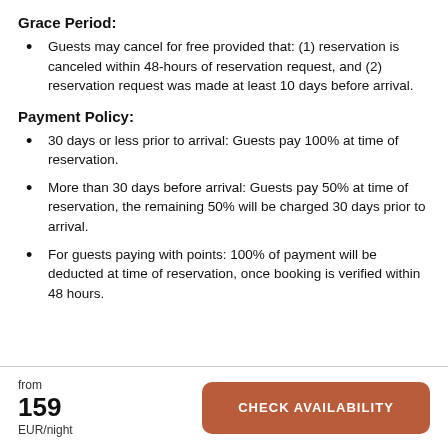Grace Period:
Guests may cancel for free provided that: (1) reservation is canceled within 48-hours of reservation request, and (2) reservation request was made at least 10 days before arrival.
Payment Policy:
30 days or less prior to arrival: Guests pay 100% at time of reservation.
More than 30 days before arrival: Guests pay 50% at time of reservation, the remaining 50% will be charged 30 days prior to arrival.
For guests paying with points: 100% of payment will be deducted at time of reservation, once booking is verified within 48 hours.
from
159
EUR/night
CHECK AVAILABILITY